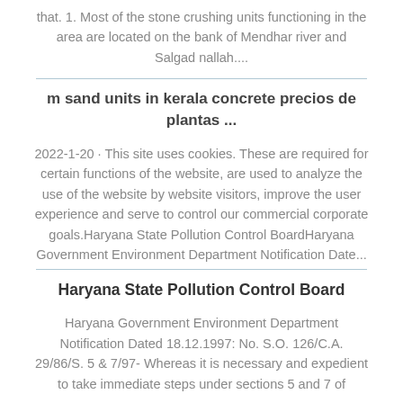that. 1. Most of the stone crushing units functioning in the area are located on the bank of Mendhar river and Salgad nallah....
m sand units in kerala concrete precios de plantas ...
2022-1-20 · This site uses cookies. These are required for certain functions of the website, are used to analyze the use of the website by website visitors, improve the user experience and serve to control our commercial corporate goals.Haryana State Pollution Control BoardHaryana Government Environment Department Notification Date...
Haryana State Pollution Control Board
Haryana Government Environment Department Notification Dated 18.12.1997: No. S.O. 126/C.A. 29/86/S. 5 & 7/97- Whereas it is necessary and expedient to take immediate steps under sections 5 and 7 of